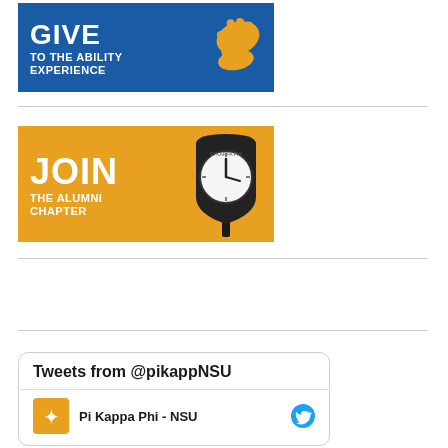[Figure (illustration): Blue banner reading GIVE TO THE ABILITY EXPERIENCE with a gold hand graphic on the right]
[Figure (illustration): Gold/amber banner reading JOIN THE ALUMNI CHAPTER with a Pi Kappa Phi clock graphic on the right]
[Figure (screenshot): Twitter widget showing Tweets from @pikappNSU with Pi Kappa Phi - NSU account row]